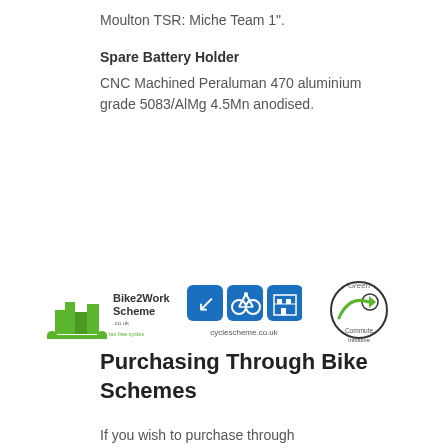Moulton TSR: Miche Team 1".
Spare Battery Holder
CNC Machined Peraluman 470 aluminium grade 5083/AlMg 4.5Mn anodised.
[Figure (logo): Three logos side by side: Bike2Work Scheme (green bicycle/city graphic), cyclescheme.co.uk (blue boxes with icons), and Green Commute Initiative (green circular logo)]
Purchasing Through Bike Schemes
If you wish to purchase through the Bike2Work scheme, the Cyclescheme